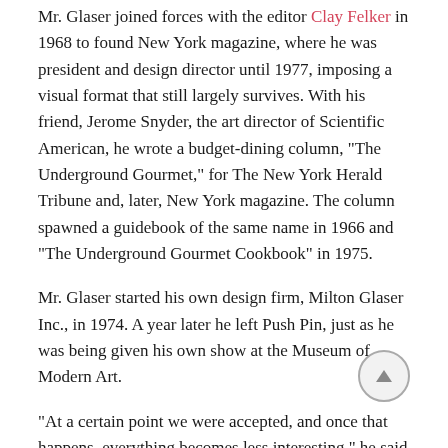Mr. Glaser joined forces with the editor Clay Felker in 1968 to found New York magazine, where he was president and design director until 1977, imposing a visual format that still largely survives. With his friend, Jerome Snyder, the art director of Scientific American, he wrote a budget-dining column, "The Underground Gourmet," for The New York Herald Tribune and, later, New York magazine. The column spawned a guidebook of the same name in 1966 and "The Underground Gourmet Cookbook" in 1975.
Mr. Glaser started his own design firm, Milton Glaser Inc., in 1974. A year later he left Push Pin, just as he was being given his own show at the Museum of Modern Art.
"At a certain point we were accepted, and once that happens, everything becomes less interesting," he said in an interview for "Graphic Design in America: A Visual Language History," an exhibition at the Walker Art Center in Minneapolis in 1989.
He was hired by the British tycoon James Goldsmith in 1978 to